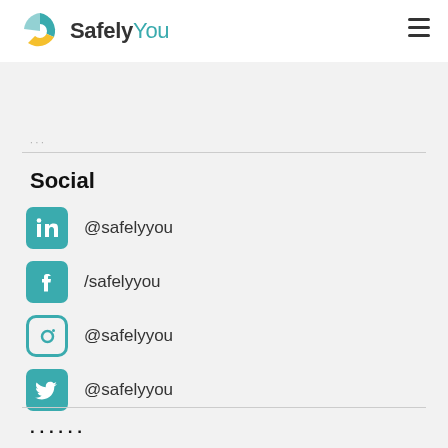SafelyYou
Social
@safelyyou (LinkedIn)
/safelyyou (Facebook)
@safelyyou (Instagram)
@safelyyou (Twitter)